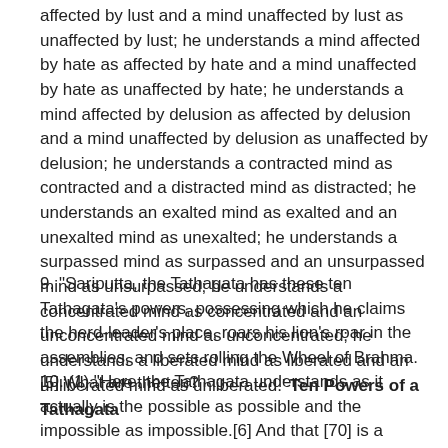affected by lust and a mind unaffected by lust as unaffected by lust; he understands a mind affected by hate as affected by hate and a mind unaffected by hate as unaffected by hate; he understands a mind affected by delusion as affected by delusion and a mind unaffected by delusion as unaffected by delusion; he understands a contracted mind as contracted and a distracted mind as distracted; he understands an exalted mind as exalted and an unexalted mind as unexalted; he understands a surpassed mind as surpassed and an unsurpassed mind as unsurpassed; he understands a concentrated mind as concentrated and an unconcentrated mind as unconcentrated; he understands a liberated mind as liberated and an unliberated mind as unliberated.' Ten Powers of a Tathagata
9. "Sariputta, the Tathagata has these ten Tathagata's powers, possessing which he claims the herd-leader's place, roars his lion's roar in the assemblies, and sets rolling the Wheel of Brahma.[5] What are the ten?
10. (1) "Here, the Tathagata understands as it actually is the possible as possible and the impossible as impossible.[6] And that [70] is a Tathagata's power that the Tathagata has, by virtue of